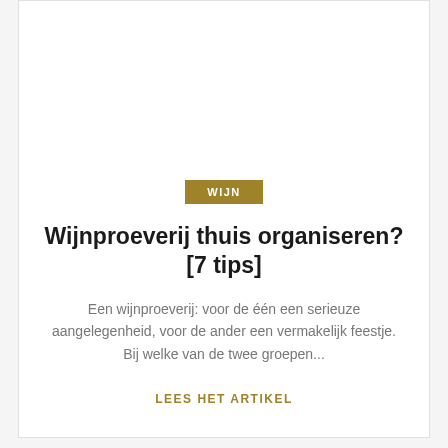WIJN
Wijnproeverij thuis organiseren? [7 tips]
Een wijnproeverij: voor de één een serieuze aangelegenheid, voor de ander een vermakelijk feestje. Bij welke van de twee groepen...
LEES HET ARTIKEL